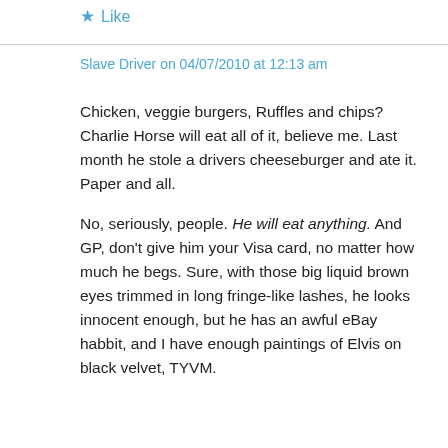★ Like
Slave Driver on 04/07/2010 at 12:13 am
Chicken, veggie burgers, Ruffles and chips? Charlie Horse will eat all of it, believe me. Last month he stole a drivers cheeseburger and ate it. Paper and all.

No, seriously, people. He will eat anything. And GP, don't give him your Visa card, no matter how much he begs. Sure, with those big liquid brown eyes trimmed in long fringe-like lashes, he looks innocent enough, but he has an awful eBay habbit, and I have enough paintings of Elvis on black velvet, TYVM.